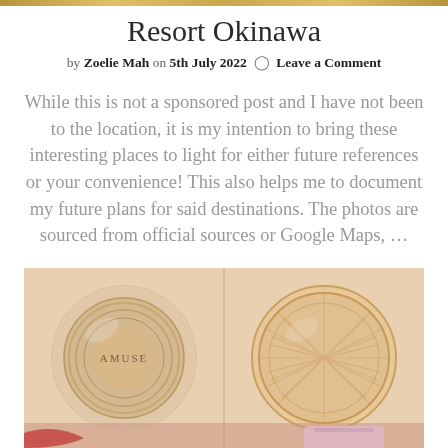Resort Okinawa
by Zoelie Mah on 5th July 2022  Leave a Comment
While this is not a sponsored post and I have not been to the location, it is my intention to bring these interesting places to light for either future references or your convenience! This also helps me to document my future plans for said destinations. The photos are sourced from official sources or Google Maps, …
[Figure (photo): Two cosmetic compact products side by side — left shows an AMUSE-branded round compact with clear lid, right shows a peach/beige sculpting powder compact with ribbed texture]